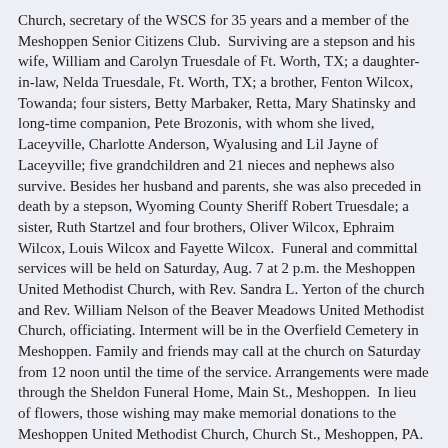Church, secretary of the WSCS for 35 years and a member of the Meshoppen Senior Citizens Club. Surviving are a stepson and his wife, William and Carolyn Truesdale of Ft. Worth, TX; a daughter-in-law, Nelda Truesdale, Ft. Worth, TX; a brother, Fenton Wilcox, Towanda; four sisters, Betty Marbaker, Retta, Mary Shatinsky and long-time companion, Pete Brozonis, with whom she lived, Laceyville, Charlotte Anderson, Wyalusing and Lil Jayne of Laceyville; five grandchildren and 21 nieces and nephews also survive. Besides her husband and parents, she was also preceded in death by a stepson, Wyoming County Sheriff Robert Truesdale; a sister, Ruth Startzel and four brothers, Oliver Wilcox, Ephraim Wilcox, Louis Wilcox and Fayette Wilcox. Funeral and committal services will be held on Saturday, Aug. 7 at 2 p.m. the Meshoppen United Methodist Church, with Rev. Sandra L. Yerton of the church and Rev. William Nelson of the Beaver Meadows United Methodist Church, officiating. Interment will be in the Overfield Cemetery in Meshoppen. Family and friends may call at the church on Saturday from 12 noon until the time of the service. Arrangements were made through the Sheldon Funeral Home, Main St., Meshoppen. In lieu of flowers, those wishing may make memorial donations to the Meshoppen United Methodist Church, Church St., Meshoppen, PA. Contributed by Carol Brotzman. Wyalusing Rocket August 5, 2004
ROBERT 'BOB' WILCOX, 75, well known resident of West